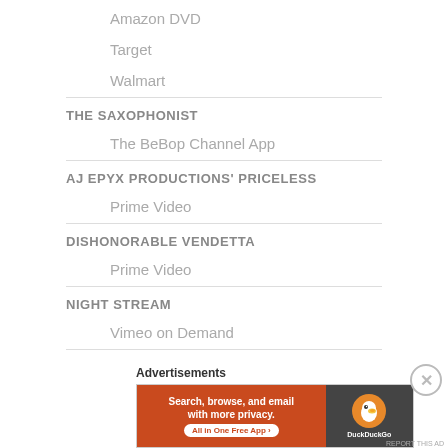Amazon DVD
Target
Walmart
THE SAXOPHONIST
The BeBop Channel App
AJ EPYX PRODUCTIONS' PRICELESS
Prime Video
DISHONORABLE VENDETTA
Prime Video
NIGHT STREAM
Vimeo on Demand
TEMPTED
[Figure (infographic): DuckDuckGo advertisement banner: Search, browse, and email with more privacy. All in One Free App.]